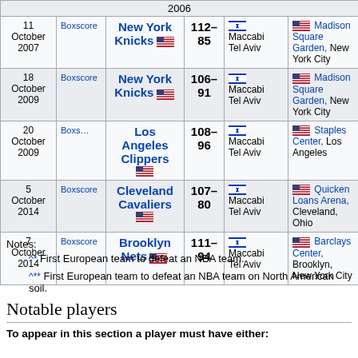| Date |  | Team | Score | Opponent | Venue |
| --- | --- | --- | --- | --- | --- |
| 11 October 2007 | Boxscore | New York Knicks | 112–85 | Maccabi Tel Aviv | Madison Square Garden, New York City |
| 18 October 2009 | Boxscore | New York Knicks | 106–91 | Maccabi Tel Aviv | Madison Square Garden, New York City |
| 20 October 2009 | Boxscore | Los Angeles Clippers | 108–96 | Maccabi Tel Aviv | Staples Center, Los Angeles |
| 5 October 2014 | Boxscore | Cleveland Cavaliers | 107–80 | Maccabi Tel Aviv | Quicken Loans Arena, Cleveland, Ohio |
| 7 October 2014 | Boxscore | Brooklyn Nets | 111–94 | Maccabi Tel Aviv | Barclays Center, Brooklyn, New York City |
Notes:
^* First European team to defeat an NBA team.
^** First European team to defeat an NBA team on North American soil.
Notable players
To appear in this section a player must have either: